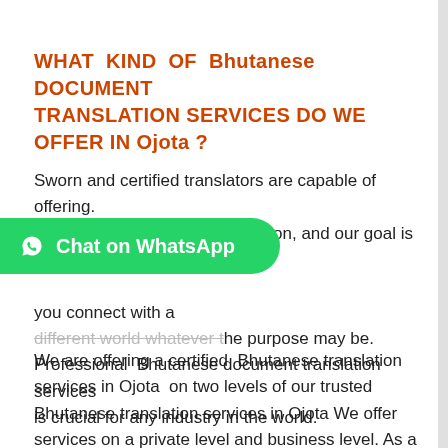WHAT KIND OF Bhutanese DOCUMENT TRANSLATION SERVICES DO WE OFFER IN Ojota ?
Sworn and certified translators are capable of offering. It is something we do with passion, and our goal is to help you connect with a different world whatever the purpose may be. Professional Bhutanese document translation services is crucial for any industry in the world.
[Figure (other): Green WhatsApp chat button with WhatsApp logo icon and text 'Chat on WhatsApp']
We are offering a certified Bhutanese translation services in Ojota on two levels of our trusted Bhutanese translation services in Ojota We offer services on a private level and business level. As a